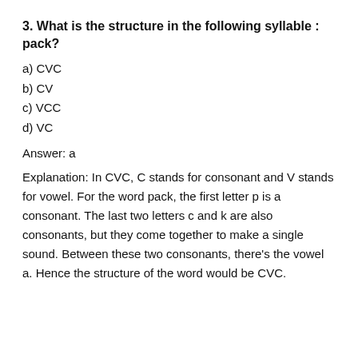3. What is the structure in the following syllable : pack?
a) CVC
b) CV
c) VCC
d) VC
Answer: a
Explanation: In CVC, C stands for consonant and V stands for vowel. For the word pack, the first letter p is a consonant. The last two letters c and k are also consonants, but they come together to make a single sound. Between these two consonants, there’s the vowel a. Hence the structure of the word would be CVC.